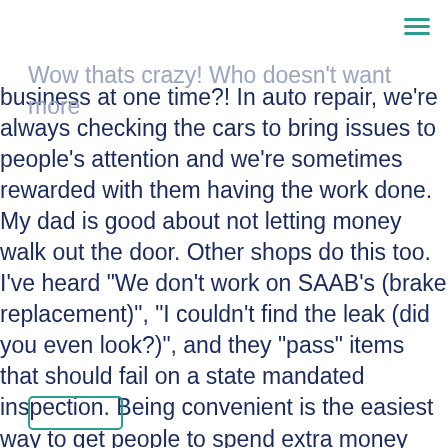Wow thats crazy! Who doesn't want more business at one time?! In auto repair, we're always checking the cars to bring issues to people's attention and we're sometimes rewarded with them having the work done. My dad is good about not letting money walk out the door. Other shops do this too. I've heard "We don't work on SAAB's (brake replacement)", "I couldn't find the leak (did you even look?)", and they "pass" items that should fail on a state mandated inspection. Being convenient is the easiest way to get people to spend extra money with you! Thanks for the post Randy!